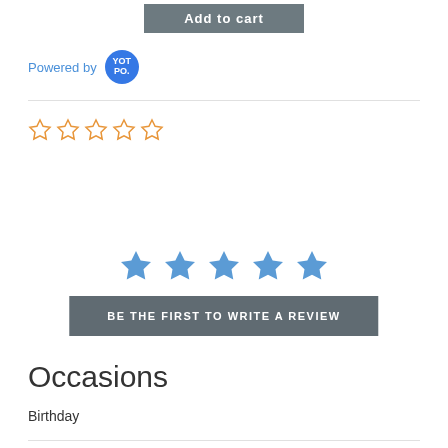[Figure (other): Add to cart button (gray/slate background with bold white text)]
Powered by YOTPO.
[Figure (other): Five empty orange outline stars (rating widget)]
[Figure (other): Five filled blue stars (rating widget)]
BE THE FIRST TO WRITE A REVIEW
Occasions
Birthday